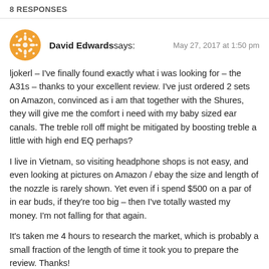8 RESPONSES
David Edwards says:    May 27, 2017 at 1:50 pm
ljokerl – I've finally found exactly what i was looking for – the A31s – thanks to your excellent review. I've just ordered 2 sets on Amazon, convinced as i am that together with the Shures, they will give me the comfort i need with my baby sized ear canals. The treble roll off might be mitigated by boosting treble a little with high end EQ perhaps?
I live in Vietnam, so visiting headphone shops is not easy, and even looking at pictures on Amazon / ebay the size and length of the nozzle is rarely shown. Yet even if i spend $500 on a par of in ear buds, if they're too big – then I've totally wasted my money. I'm not falling for that again.
It's taken me 4 hours to research the market, which is probably a small fraction of the length of time it took you to prepare the review. Thanks!